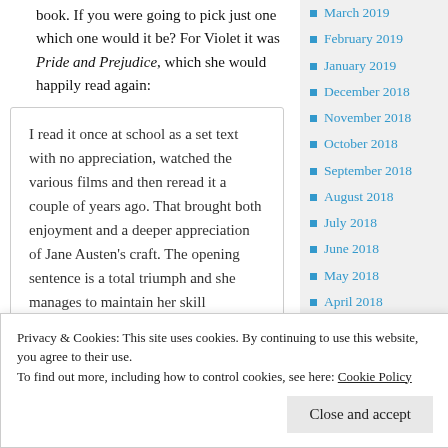book. If you were going to pick just one which one would it be? For Violet it was Pride and Prejudice, which she would happily read again:
I read it once at school as a set text with no appreciation, watched the various films and then reread it a couple of years ago. That brought both enjoyment and a deeper appreciation of Jane Austen's craft. The opening sentence is a total triumph and she manages to maintain her skill throughout the book.
March 2019
February 2019
January 2019
December 2018
November 2018
October 2018
September 2018
August 2018
July 2018
June 2018
May 2018
April 2018
March 2018
September 2017
Privacy & Cookies: This site uses cookies. By continuing to use this website, you agree to their use.
To find out more, including how to control cookies, see here: Cookie Policy
Close and accept